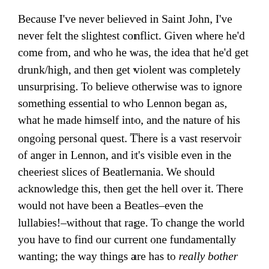Because I've never believed in Saint John, I've never felt the slightest conflict. Given where he'd come from, and who he was, the idea that he'd get drunk/high, and then get violent was completely unsurprising. To believe otherwise was to ignore something essential to who Lennon began as, what he made himself into, and the nature of his ongoing personal quest. There is a vast reservoir of anger in Lennon, and it's visible even in the cheeriest slices of Beatlemania. We should acknowledge this, then get the hell over it. There would not have been a Beatles–even the lullabies!–without that rage. To change the world you have to find our current one fundamentally wanting; the way things are has to really bother you. You can't just love spaghetti. Deep down, we all know this, and all four Beatles show this dissatisfaction, though it is John who, with its hand, has wound